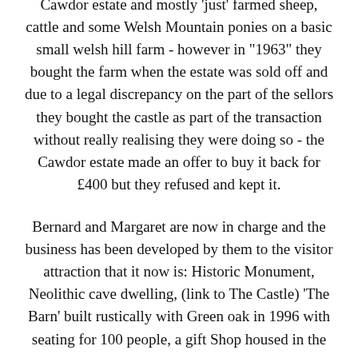Cawdor estate and mostly 'just' farmed sheep, cattle and some Welsh Mountain ponies on a basic small welsh hill farm - however in "1963" they bought the farm when the estate was sold off and due to a legal discrepancy on the part of the sellors they bought the castle as part of the transaction without really realising they were doing so - the Cawdor estate made an offer to buy it back for £400 but they refused and kept it.
Bernard and Margaret are now in charge and the business has been developed by them to the visitor attraction that it now is: Historic Monument, Neolithic cave dwelling, (link to The Castle) 'The Barn' built rustically with Green oak in 1996 with seating for 100 people, a gift Shop housed in the